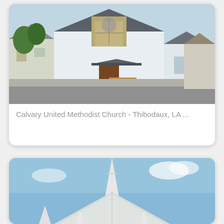[Figure (photo): Photograph of Calvary United Methodist Church in Thibodaux, LA — a white wooden church building with gothic arched windows and brown wooden doors, with a street visible in the foreground.]
Calvary United Methodist Church - Thibodaux, LA ...
[Figure (photo): Photograph of a white church building with a tall white steeple against a blue sky, only the upper portion visible.]